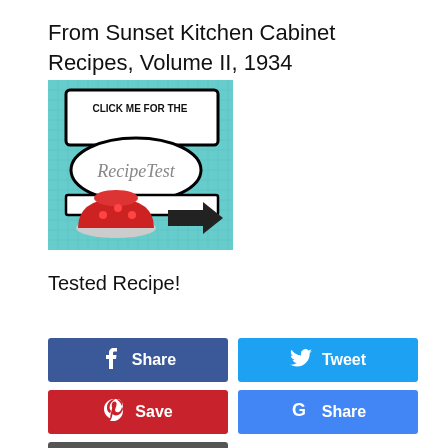From Sunset Kitchen Cabinet Recipes, Volume II, 1934
[Figure (illustration): Clickable recipe test image showing 'CLICK ME FOR THE RecipeTest' sign with a red gelatin dessert and arrow, on a teal grid background]
Tested Recipe!
[Figure (infographic): Social sharing buttons: Facebook Share, Twitter Tweet, Pinterest Save, Google Share, Email]